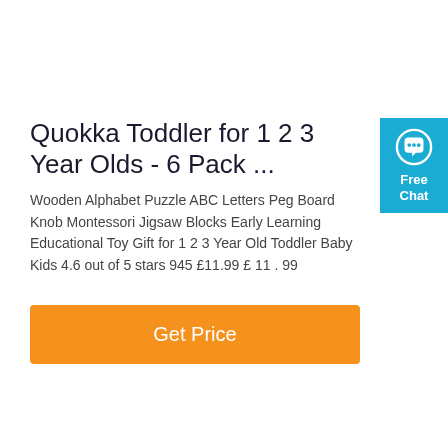Quokka Toddler for 1 2 3 Year Olds - 6 Pack ...
Wooden Alphabet Puzzle ABC Letters Peg Board Knob Montessori Jigsaw Blocks Early Learning Educational Toy Gift for 1 2 3 Year Old Toddler Baby Kids 4.6 out of 5 stars 945 £11.99 £ 11 . 99
[Figure (other): Blue chat widget button with speech bubble icon and text 'Free Chat']
Get Price